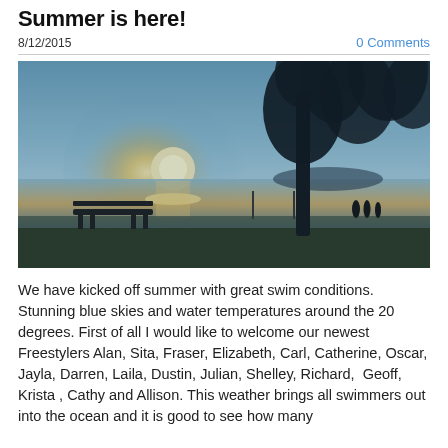Summer is here!
8/12/2015
0 Comments
[Figure (photo): Beach sunset photo showing a calm ocean with glowing sun near the horizon, a tall silhouetted pine tree on the right, a park bench in the lower left, silhouettes of people near the tree, and a blue/teal toned sky over the water.]
We have kicked off summer with great swim conditions. Stunning blue skies and water temperatures around the 20 degrees. First of all I would like to welcome our newest Freestylers Alan, Sita, Fraser, Elizabeth, Carl, Catherine, Oscar, Jayla, Darren, Laila, Dustin, Julian, Shelley, Richard,  Geoff, Krista , Cathy and Allison. This weather brings all swimmers out into the ocean and it is good to see how many